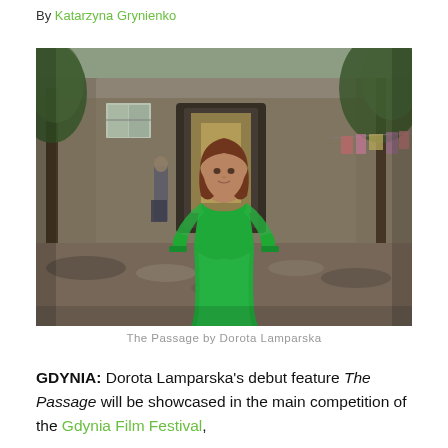By Katarzyna Grynienko
[Figure (photo): Woman in a bright green long-sleeve dress standing outdoors in a courtyard with trees and an old stone building in the background, looking upward.]
The Passage by Dorota Lamparska
GDYNIA: Dorota Lamparska's debut feature The Passage will be showcased in the main competition of the Gdynia Film Festival,